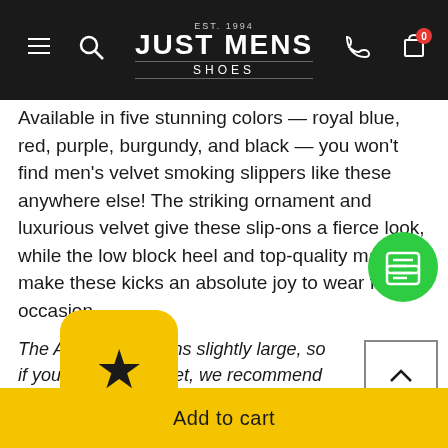EST. 1994 JUST MENS SHOES
Available in five stunning colors — royal blue, red, purple, burgundy, and black — you won't find men's velvet smoking slippers like these anywhere else! The striking ornament and luxurious velvet give these slip-ons a fierce look, while the low block heel and top-quality materials make these kicks an absolute joy to wear for any occasion.
The Amali Heath runs slightly large, so if you have narrow feet, we recommend ordering ½ size down from your usual size.
Get More Bang for Your Buck
Just Men's Shoes is a paradise for stylish guys seeking fashion-forward footwear at a great price
Add to cart